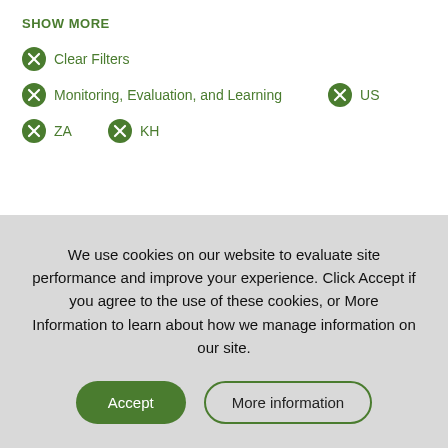SHOW MORE
Clear Filters
Monitoring, Evaluation, and Learning  US
ZA  KH
We use cookies on our website to evaluate site performance and improve your experience. Click Accept if you agree to the use of these cookies, or More Information to learn about how we manage information on our site.